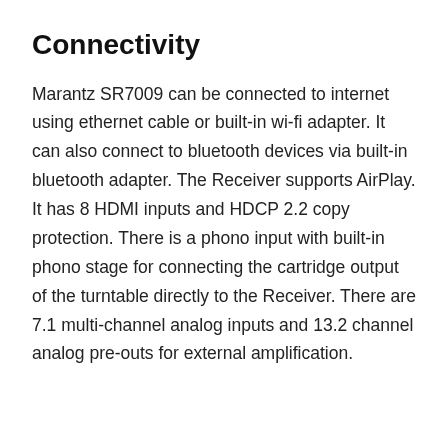Connectivity
Marantz SR7009 can be connected to internet using ethernet cable or built-in wi-fi adapter. It can also connect to bluetooth devices via built-in bluetooth adapter. The Receiver supports AirPlay. It has 8 HDMI inputs and HDCP 2.2 copy protection. There is a phono input with built-in phono stage for connecting the cartridge output of the turntable directly to the Receiver. There are 7.1 multi-channel analog inputs and 13.2 channel analog pre-outs for external amplification.